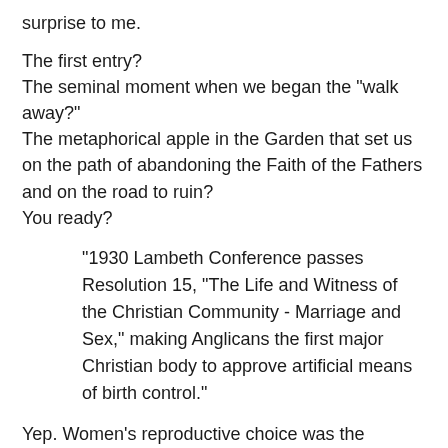surprise to me.
The first entry?
The seminal moment when we began the "walk away?"
The metaphorical apple in the Garden that set us on the path of abandoning the Faith of the Fathers and on the road to ruin?
You ready?
"1930 Lambeth Conference passes Resolution 15, "The Life and Witness of the Christian Community - Marriage and Sex," making Anglicans the first major Christian body to approve artificial means of birth control."
Yep. Women's reproductive choice was the Rubicon. It was the thin end of the wedge -- the beginning of the end -- the Apple in the Garden.
Remember that just in case anybody ever needs convincing that sexism, patriarchy, misogyny and homohysteria are all connected. Cuz they are. And have